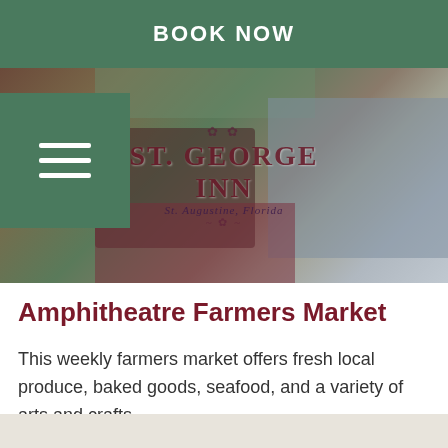BOOK NOW
[Figure (photo): Farmers market scene with produce, crafts, and tables covered in cloth, overlaid with the St. George Inn St. Augustine, Florida logo]
Amphitheatre Farmers Market
This weekly farmers market offers fresh local produce, baked goods, seafood, and a variety of arts and crafts.